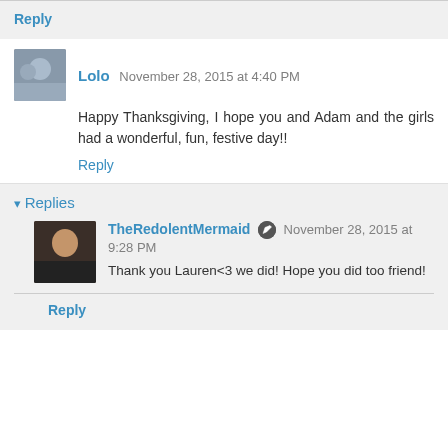Reply
Lolo  November 28, 2015 at 4:40 PM
Happy Thanksgiving, I hope you and Adam and the girls had a wonderful, fun, festive day!!
Reply
Replies
TheRedolentMermaid  November 28, 2015 at 9:28 PM
Thank you Lauren<3 we did! Hope you did too friend!
Reply